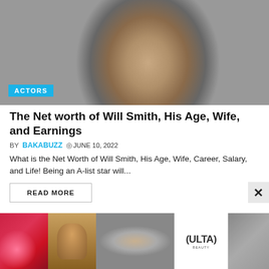[Figure (photo): Close-up photo of a man's face with beard, gray background. ACTORS badge overlay at bottom left.]
The Net worth of Will Smith, His Age, Wife, and Earnings
BY BAKABUZZ  ⊙JUNE 10, 2022
What is the Net Worth of Will Smith, His Age, Wife, Career, Salary, and Life!  Being an A-list star will...
READ MORE
[Figure (illustration): Anime character thumbnail - blonde anime character with blue background]
12 Best Anime Where Mc Is a Supreme Being That Nobody Can Defeat
⊙MAY 14, 2022
[Figure (infographic): Advertisement banner with ULTA beauty ad and SHOP NOW button, beauty product images]